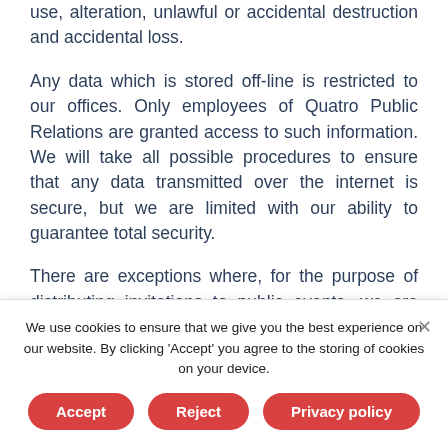use, alteration, unlawful or accidental destruction and accidental loss.
Any data which is stored off-line is restricted to our offices. Only employees of Quatro Public Relations are granted access to such information. We will take all possible procedures to ensure that any data transmitted over the internet is secure, but we are limited with our ability to guarantee total security.
There are exceptions where, for the purpose of distributing invitations to public events, we are required to submit a list of addresses to our third-party mailing house. Whenever this occurs, the third-party mailing
We use cookies to ensure that we give you the best experience on our website. By clicking 'Accept' you agree to the storing of cookies on your device.
Accept | Reject | Privacy policy